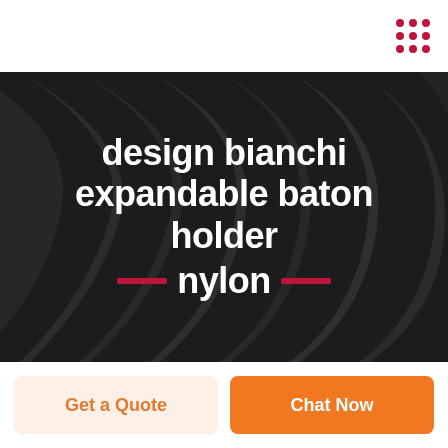[Figure (illustration): Dark abstract background with curved black shapes/ribbons, overlaid with bold white text reading 'design bianchi expandable baton holder nylon' with red decorative bars flanking the word 'nylon']
design bianchi expandable baton holder nylon
Get a Quote
Chat Now